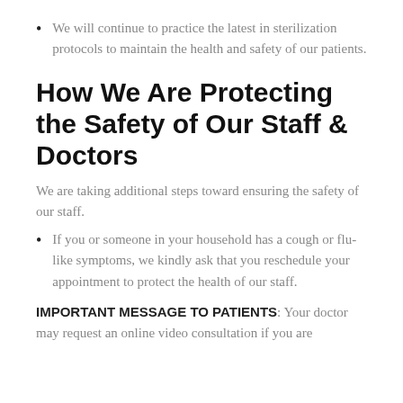We will continue to practice the latest in sterilization protocols to maintain the health and safety of our patients.
How We Are Protecting the Safety of Our Staff & Doctors
We are taking additional steps toward ensuring the safety of our staff.
If you or someone in your household has a cough or flu-like symptoms, we kindly ask that you reschedule your appointment to protect the health of our staff.
IMPORTANT MESSAGE TO PATIENTS: Your doctor may request an online video consultation if you are